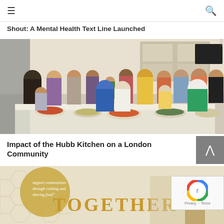≡  🔍
Shout: A Mental Health Text Line Launched
[Figure (photo): Group photo of a diverse community of women and children standing behind a table covered with various dishes of food in a kitchen setting]
Impact of the Hubb Kitchen on a London Community
[Figure (photo): Book cover titled TOGETHER with italic quote text about supporting communities through cooking and sharing food, with a hexagonal pattern background in gold/cream tones]